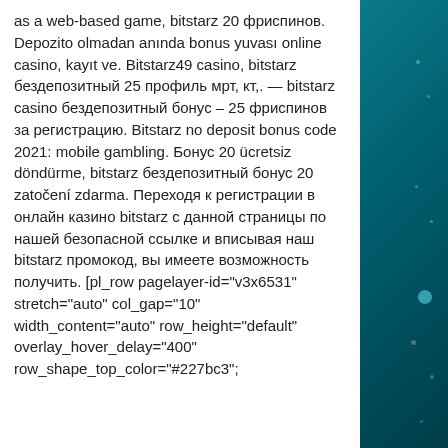as a web-based game, bitstarz 20 фриспинов. Depozito olmadan anında bonus yuvası online casino, kayıt ve. Bitstarz49 casino, bitstarz бездепозитный 25 профиль мрт, кт,. — bitstarz casino бездепозитный бонус – 25 фриспинов за регистрацию. Bitstarz no deposit bonus code 2021: mobile gambling. Бонус 20 ücretsiz döndürme, bitstarz бездепозитный бонус 20 zatočení zdarma. Переходя к регистрации в онлайн казино bitstarz с данной страницы по нашей безопасной ссылке и вписывая наш bitstarz промокод, вы имеете возможность получить. [pl_row pagelayer-id=&quot;v3x6531&quot; stretch=&quot;auto&quot; col_gap=&quot;10&quot; width_content=&quot;auto&quot; row_height=&quot;default&quot; overlay_hover_delay=&quot;400&quot; row_shape_top_color=&quot;#227bc3&quot;